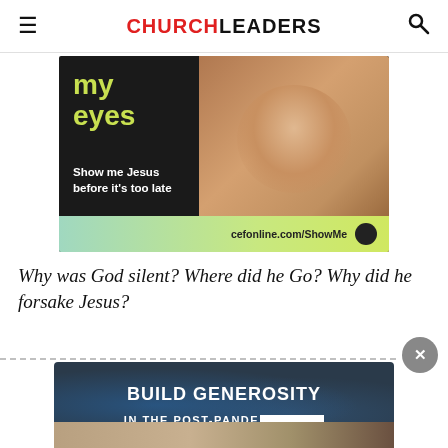CHURCHLEADERS
[Figure (photo): Advertisement for CEF with a child's face, text reading 'my eyes', 'Show me Jesus before it's too late', and 'cefonline.com/ShowMe']
Why was God silent? Where did he Go? Why did he forsake Jesus?
[Figure (photo): Video thumbnail with dark background, blue circle graphic, text 'BUILD GENEROSITY IN THE POST-PANDE[MIC]' with a white bar overlay]